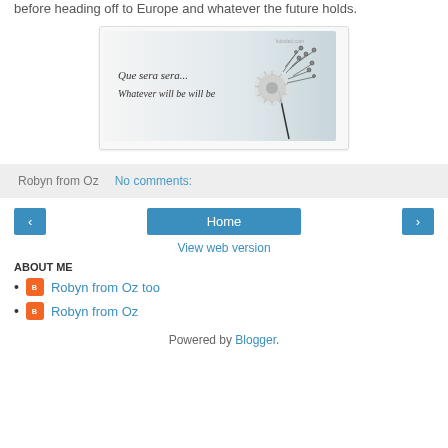before heading off to Europe and whatever the future holds.
[Figure (illustration): An image card with a dandelion blowing in the wind on a light gray background, with cursive text reading 'Que sera sera... Whatever will be will be' and a small watermark 'bobsled.com' in the upper right.]
Robyn from Oz    No comments:
< Home >
View web version
ABOUT ME
Robyn from Oz too
Robyn from Oz
Powered by Blogger.